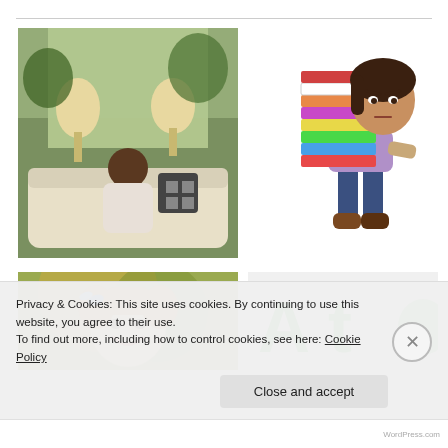[Figure (photo): Person sitting in a floral armchair reading a magazine in a bright sunlit living room with lamps and large windows]
[Figure (illustration): Bitmoji cartoon of a dark-haired woman in a purple top and jeans carrying a tall stack of colorful books, looking tired]
[Figure (photo): Smiling young girl with pigtails and a butterfly hair clip on a blurred outdoor background]
[Figure (illustration): Green cartoon logo letters partially visible]
Privacy & Cookies: This site uses cookies. By continuing to use this website, you agree to their use.
To find out more, including how to control cookies, see here: Cookie Policy
Close and accept